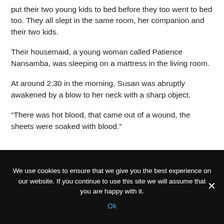put their two young kids to bed before they too went to bed too. They all slept in the same room, her companion and their two kids.
Their housemaid, a young woman called Patience Nansamba, was sleeping on a mattress in the living room.
At around 2:30 in the morning, Susan was abruptly awakened by a blow to her neck with a sharp object.
“There was hot blood, that came out of a wound, the sheets were soaked with blood.”
We use cookies to ensure that we give you the best experience on our website. If you continue to use this site we will assume that you are happy with it.
Ok